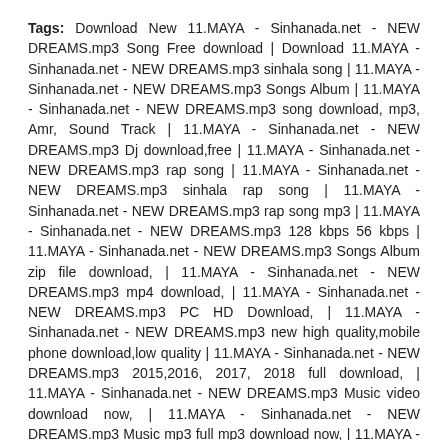Tags: Download New 11.MAYA - Sinhanada.net - NEW DREAMS.mp3 Song Free download | Download 11.MAYA - Sinhanada.net - NEW DREAMS.mp3 sinhala song | 11.MAYA - Sinhanada.net - NEW DREAMS.mp3 Songs Album | 11.MAYA - Sinhanada.net - NEW DREAMS.mp3 song download, mp3, Amr, Sound Track | 11.MAYA - Sinhanada.net - NEW DREAMS.mp3 Dj download,free | 11.MAYA - Sinhanada.net - NEW DREAMS.mp3 rap song | 11.MAYA - Sinhanada.net - NEW DREAMS.mp3 sinhala rap song | 11.MAYA - Sinhanada.net - NEW DREAMS.mp3 rap song mp3 | 11.MAYA - Sinhanada.net - NEW DREAMS.mp3 128 kbps 56 kbps | 11.MAYA - Sinhanada.net - NEW DREAMS.mp3 Songs Album zip file download, | 11.MAYA - Sinhanada.net - NEW DREAMS.mp3 mp4 download, | 11.MAYA - Sinhanada.net - NEW DREAMS.mp3 PC HD Download, | 11.MAYA - Sinhanada.net - NEW DREAMS.mp3 new high quality,mobile phone download,low quality | 11.MAYA - Sinhanada.net - NEW DREAMS.mp3 2015,2016, 2017, 2018 full download, | 11.MAYA - Sinhanada.net - NEW DREAMS.mp3 Music video download now, | 11.MAYA - Sinhanada.net - NEW DREAMS.mp3 Music mp3 full mp3 download now, | 11.MAYA - Sinhanada.net - NEW DREAMS.mp3 CD rip download, | 11.MAYA - Sinhanada.net - NEW DREAMS.mp3 DVDrip Vcdscam webrip Dvdscam download now, | 11.MAYA - Sinhanada.net - NEW DREAMS.mp3 3gp,mp4,avi,mkv download now,full HD | 11.MAYA - Sinhanada.net - NEW DREAMS.mp3 dj remix Download,Dj | 11.MAYA - Sinhanada.net - NEW DREAMS.mp3 3gp mp4 avi mkv download,full HD 3gp PC Mp4 3gp download, | 11.MAYA - Sinhanada.net - NEW DREAMS.mp3 Non retail